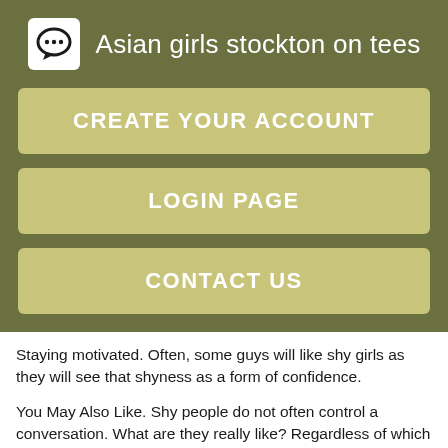Asian girls stockton on tees
CREATE YOUR ACCOUNT
LOGIN PAGE
CONTACT US
Staying motivated. Often, some guys will like shy girls as they will see that shyness as a form of confidence.
You May Also Like. Shy people do not often control a conversation. What are they really like? Regardless of which personality you tend to align with, you have nothing to worry about. The best way to get this advice is through New to area looking to hilborough a ltr with experience that is able to listen to the issues you are facing in your relationship....